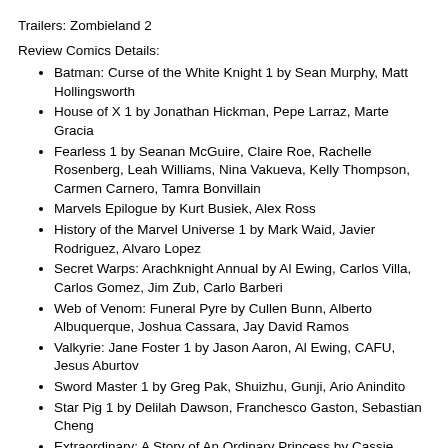Trailers: Zombieland 2
Review Comics Details:
Batman: Curse of the White Knight 1 by Sean Murphy, Matt Hollingsworth
House of X 1 by Jonathan Hickman, Pepe Larraz, Marte Gracia
Fearless 1 by Seanan McGuire, Claire Roe, Rachelle Rosenberg, Leah Williams, Nina Vakueva, Kelly Thompson, Carmen Carnero, Tamra Bonvillain
Marvels Epilogue by Kurt Busiek, Alex Ross
History of the Marvel Universe 1 by Mark Waid, Javier Rodriguez, Alvaro Lopez
Secret Warps: Arachknight Annual by Al Ewing, Carlos Villa, Carlos Gomez, Jim Zub, Carlo Barberi
Web of Venom: Funeral Pyre by Cullen Bunn, Alberto Albuquerque, Joshua Cassara, Jay David Ramos
Valkyrie: Jane Foster 1 by Jason Aaron, Al Ewing, CAFU, Jesus Aburtov
Sword Master 1 by Greg Pak, Shuizhu, Gunji, Ario Anindito
Star Pig 1 by Delilah Dawson, Franchesco Gaston, Sebastian Cheng
Extraordinary: A Story of An Ordinary Princess by Cassie Anderson
Glow Summer Special by Devin Grayson, Lisa Sterle
Archie vs. Predator 1 by Alex De Campi, Robert Hack
Monster World: Golden Age 1 by Philip Kim, Piotr Kowalski, Holly